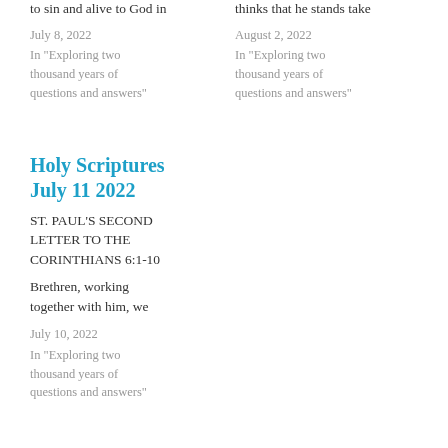to sin and alive to God in
thinks that he stands take
July 8, 2022
In "Exploring two thousand years of questions and answers"
August 2, 2022
In "Exploring two thousand years of questions and answers"
Holy Scriptures July 11 2022
ST. PAUL'S SECOND LETTER TO THE CORINTHIANS 6:1-10
Brethren, working together with him, we
July 10, 2022
In "Exploring two thousand years of questions and answers"